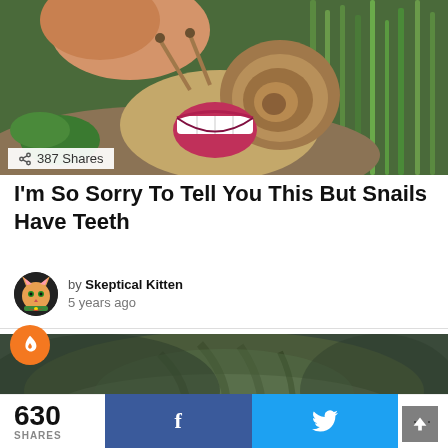[Figure (photo): A snail with a smiling human mouth/teeth photoshopped onto it, on a background of green grass. Humorous internet image.]
387 Shares
I'm So Sorry To Tell You This But Snails Have Teeth
by Skeptical Kitten
5 years ago
[Figure (photo): Close-up photo of a cat's fur/face from above, dark greenish tones. Has an orange flame-circle icon overlay and an up-arrow button.]
630
SHARES